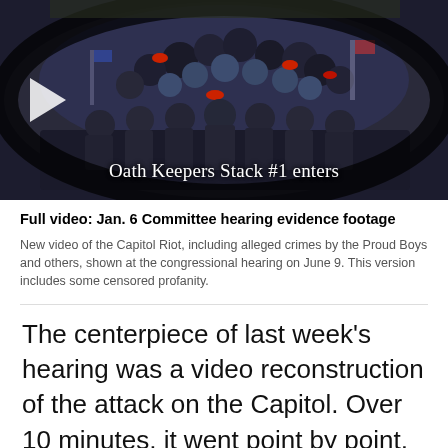[Figure (screenshot): Video thumbnail showing a crowd of people, including members of the Oath Keepers, entering a building. The image is a fisheye/security camera view from above showing many people in winter gear, some in tactical equipment. Text overlay reads 'Oath Keepers Stack #1 enters'. A white play button triangle is visible on the left.]
Full video: Jan. 6 Committee hearing evidence footage
New video of the Capitol Riot, including alleged crimes by the Proud Boys and others, shown at the congressional hearing on June 9. This version includes some censored profanity.
The centerpiece of last week's hearing was a video reconstruction of the attack on the Capitol. Over 10 minutes, it went point by point, showing the rioters overwhelming and beating police officers as the mob broke into the building to stop the certification of Donald Trump's election loss.